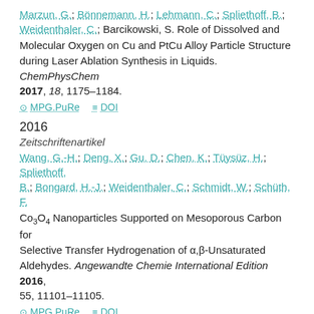Marzun, G.; Bönnemann, H.; Lehmann, C.; Spliethoff, B.; Weidenthaler, C.; Barcikowski, S. Role of Dissolved and Molecular Oxygen on Cu and PtCu Alloy Particle Structure during Laser Ablation Synthesis in Liquids. ChemPhysChem 2017, 18, 1175–1184.
⊙ MPG.PuRe   ≡ DOI
2016
Zeitschriftenartikel
Wang, G.-H.; Deng, X.; Gu, D.; Chen, K.; Tüysüz, H.; Spliethoff, B.; Bongard, H.-J.; Weidenthaler, C.; Schmidt, W.; Schüth, F. Co3O4 Nanoparticles Supported on Mesoporous Carbon for Selective Transfer Hydrogenation of α,β-Unsaturated Aldehydes. Angewandte Chemie International Edition 2016, 55, 11101–11105.
⊙ MPG.PuRe   ≡ DOI
Zeitschriftenartikel